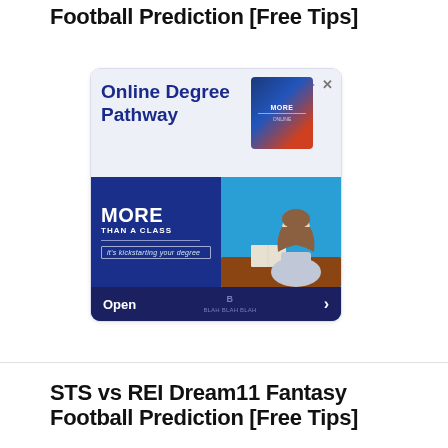Football Prediction [Free Tips]
[Figure (screenshot): Advertisement banner for 'Online Degree Pathway' showing a woman at a desk with text 'MORE THAN A CLASS, it's kickstarting your degree' and an Open button]
STS vs REI Dream11 Fantasy Football Prediction [Free Tips]